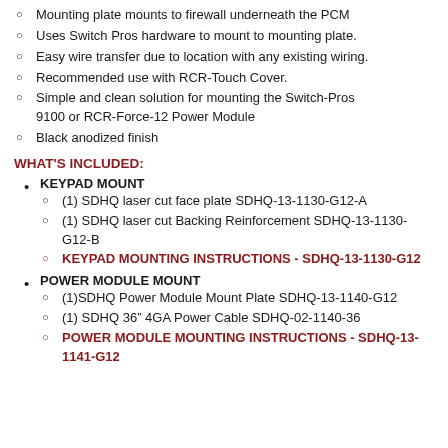Mounting plate mounts to firewall underneath the PCM
Uses Switch Pros hardware to mount to mounting plate.
Easy wire transfer due to location with any existing wiring.
Recommended use with RCR-Touch Cover.
Simple and clean solution for mounting the Switch-Pros 9100 or RCR-Force-12 Power Module
Black anodized finish
WHAT'S INCLUDED:
KEYPAD MOUNT
(1) SDHQ laser cut face plate SDHQ-13-1130-G12-A
(1) SDHQ laser cut Backing Reinforcement SDHQ-13-1130-G12-B
KEYPAD MOUNTING INSTRUCTIONS - SDHQ-13-1130-G12
POWER MODULE MOUNT
(1)SDHQ Power Module Mount Plate SDHQ-13-1140-G12
(1) SDHQ 36" 4GA Power Cable SDHQ-02-1140-36
POWER MODULE MOUNTING INSTRUCTIONS - SDHQ-13-1141-G12